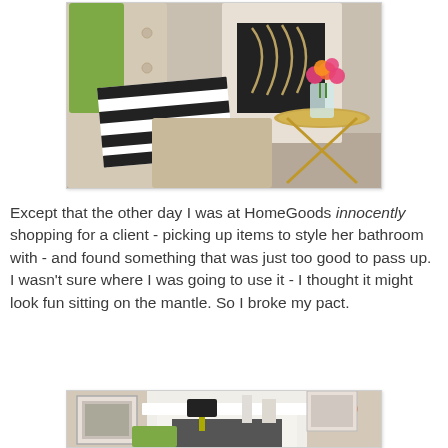[Figure (photo): Interior room photo showing a black-and-white striped pillow against a tufted headboard/sofa, a decorative fireplace screen, a gold side table with a vase of bright pink and orange roses.]
Except that the other day I was at HomeGoods innocently shopping for a client - picking up items to style her bathroom with - and found something that was just too good to pass up. I wasn't sure where I was going to use it - I thought it might look fun sitting on the mantle. So I broke my pact.
[Figure (photo): Interior room photo showing a white fireplace mantle with decorative items, a black lamp, green and pink accent pillows, and framed artwork on the wall.]